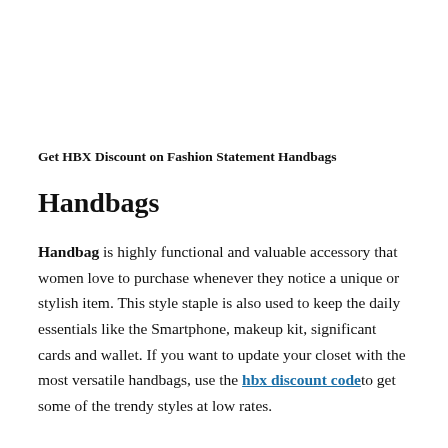Get HBX Discount on Fashion Statement Handbags
Handbags
Handbag is highly functional and valuable accessory that women love to purchase whenever they notice a unique or stylish item. This style staple is also used to keep the daily essentials like the Smartphone, makeup kit, significant cards and wallet. If you want to update your closet with the most versatile handbags, use the hbx discount code to get some of the trendy styles at low rates.